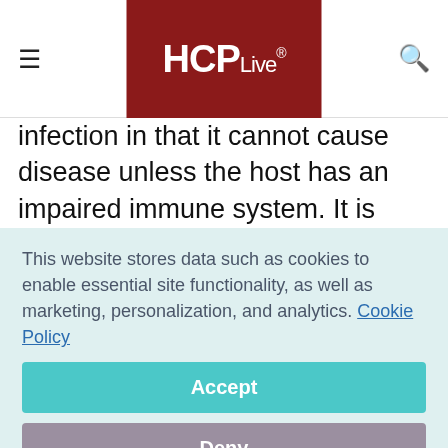HCPLive®
infection in that it cannot cause disease unless the host has an impaired immune system. It is usually acquired through inhalation and is most often present in patients with diabetes, leukemia or lymphoma, severe immunosuppression, or trauma mellitus; diabetes is the most common
This website stores data such as cookies to enable essential site functionality, as well as marketing, personalization, and analytics. Cookie Policy Accept Deny